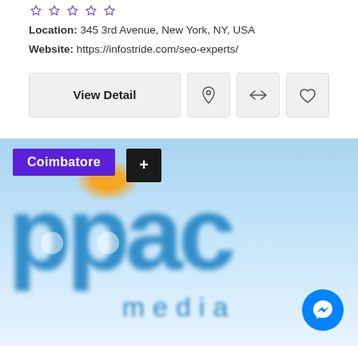[Figure (illustration): Five star rating icons (outline stars) in purple/violet color]
Location: 345 3rd Avenue, New York, NY, USA
Website: https://infostride.com/seo-experts/
[Figure (screenshot): UI buttons row: 'View Detail' button, location pin icon button, compare arrows icon button, heart/like icon button]
[Figure (photo): Blurred company logo image showing 'ppac' in large blue letters with 'media' text below, with a 'Coimbatore' badge overlay and a '+' button, and an orange pin marker in top area. A Facebook Messenger chat bubble FAB is visible in bottom right corner.]